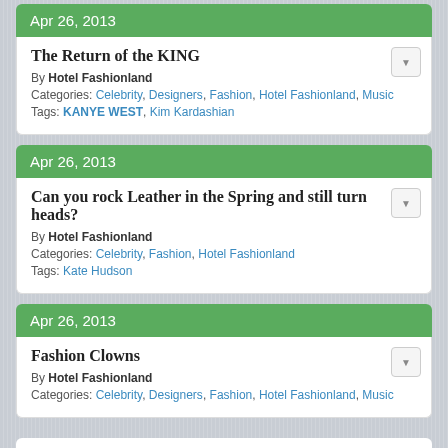Apr 26, 2013
The Return of the KING
By Hotel Fashionland
Categories: Celebrity, Designers, Fashion, Hotel Fashionland, Music
Tags: KANYE WEST, Kim Kardashian
Apr 26, 2013
Can you rock Leather in the Spring and still turn heads?
By Hotel Fashionland
Categories: Celebrity, Fashion, Hotel Fashionland
Tags: Kate Hudson
Apr 26, 2013
Fashion Clowns
By Hotel Fashionland
Categories: Celebrity, Designers, Fashion, Hotel Fashionland, Music
Load more entries...